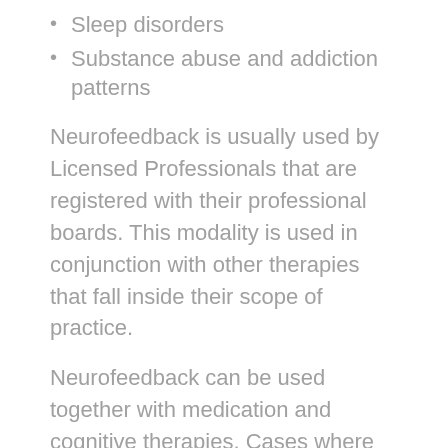Sleep disorders
Substance abuse and addiction patterns
Neurofeedback is usually used by Licensed Professionals that are registered with their professional boards. This modality is used in conjunction with other therapies that fall inside their scope of practice.
Neurofeedback can be used together with medication and cognitive therapies. Cases where medication reduction was made, in consultation with the client's physician, symptom reduction were noted as clients managed better self-regulation.
Neurofeedback is not a silver bullet; it will not